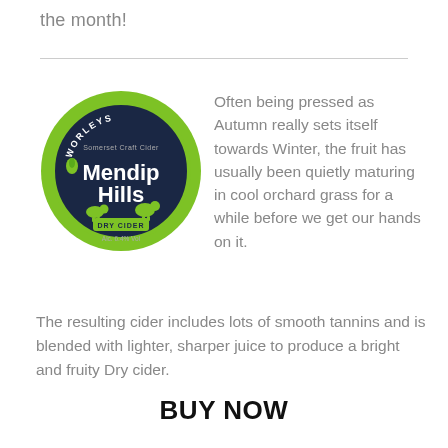the month!
[Figure (logo): Worleys Somerset Craft Cider – Mendip Hills Dry Cider badge. Circular label with dark navy background and green border. Bold white text reads 'Mendip Hills'. Smaller text reads 'WORLEYS Somerset Craft Cider', 'DRY CIDER', 'Alc. 6.4% Vol'.]
Often being pressed as Autumn really sets itself towards Winter, the fruit has usually been quietly maturing in cool orchard grass for a while before we get our hands on it.
The resulting cider includes lots of smooth tannins and is blended with lighter, sharper juice to produce a bright and fruity Dry cider.
BUY NOW